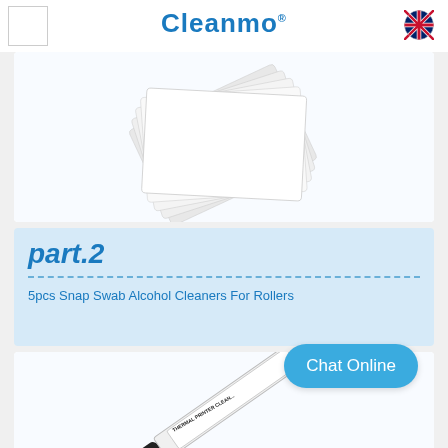[Figure (logo): Cleanmo brand logo with blue text and registered trademark symbol, with UK flag icon on right]
[Figure (photo): Fan of white plastic card stock cleaning cards fanned out]
part.2
5pcs Snap Swab Alcohol Cleaners For Rollers
[Figure (photo): Thermal printer cleaner pen with black cap, white barrel labeled THERMAL PRINTER CLEAN...]
Chat Online